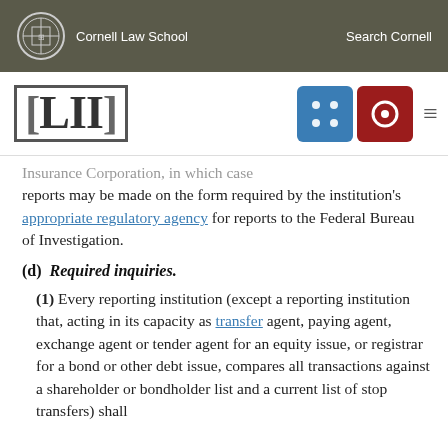Cornell Law School — Search Cornell
Insurance Corporation, in which case reports may be made on the form required by the institution's appropriate regulatory agency for reports to the Federal Bureau of Investigation.
(d) Required inquiries.
(1) Every reporting institution (except a reporting institution that, acting in its capacity as transfer agent, paying agent, exchange agent or tender agent for an equity issue, or registrar for a bond or other debt issue, compares all transactions against a shareholder or bondholder list and a current list of stop transfers) shall